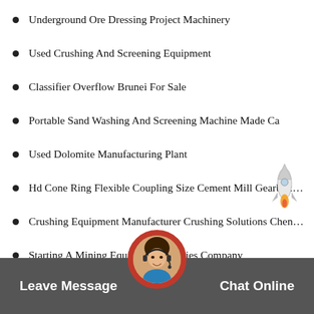Underground Ore Dressing Project Machinery
Used Crushing And Screening Equipment
Classifier Overflow Brunei For Sale
Portable Sand Washing And Screening Machine Made Ca
Used Dolomite Manufacturing Plant
Hd Cone Ring Flexible Coupling Size Cement Mill Gearbox Inpu…
Crushing Equipment Manufacturer Crushing Solutions Chengming
Starting A Mining Equipment Supplies Company
Wall Putty Ball Mills Mongolia
Saving Energy And Low Pri… Mill
Cylpebs For Iron Ore Grinding India
[Figure (illustration): Rocket/spacecraft icon in bottom-right area of the page]
[Figure (photo): Circular avatar photo of a female customer service agent wearing headset, with red circular border, overlapping the chat bar]
Leave Message
Chat Online